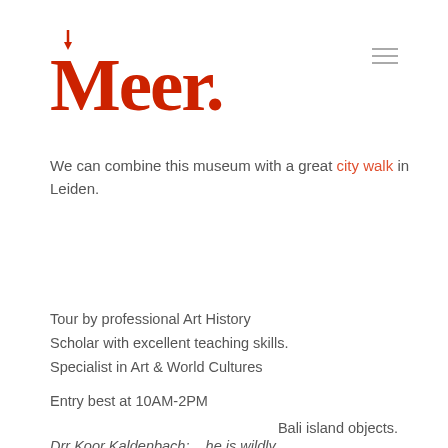[Figure (logo): Meer. logo in red decorative font with artistic letterforms]
We can combine this museum with a great city walk in Leiden.
Tour by professional Art History Scholar with excellent teaching skills. Specialist in Art & World Cultures
Entry best at 10AM-2PM
Bali island objects.
Drr Koor Kaldenbach:    he is wildly